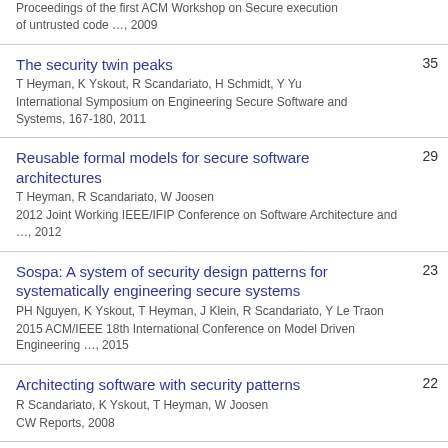Proceedings of the first ACM Workshop on Secure execution of untrusted code …, 2009
The security twin peaks | T Heyman, K Yskout, R Scandariato, H Schmidt, Y Yu | International Symposium on Engineering Secure Software and Systems, 167-180, 2011 | 35
Reusable formal models for secure software architectures | T Heyman, R Scandariato, W Joosen | 2012 Joint Working IEEE/IFIP Conference on Software Architecture and …, 2012 | 29
Sospa: A system of security design patterns for systematically engineering secure systems | PH Nguyen, K Yskout, T Heyman, J Klein, R Scandariato, Y Le Traon | 2015 ACM/IEEE 18th International Conference on Model Driven Engineering …, 2015 | 23
Architecting software with security patterns | R Scandariato, K Yskout, T Heyman, W Joosen | CW Reports, 2008 | 22